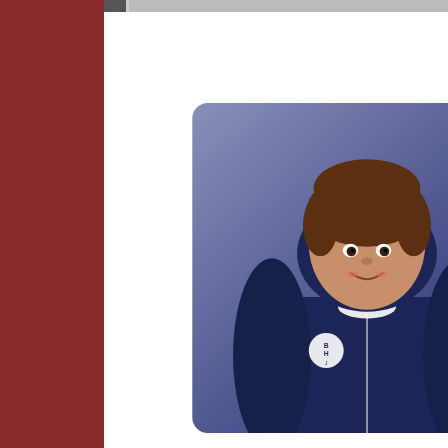[Figure (photo): Youth in navy blue full-zip hoodie with school logo, smiling, against blue-grey gradient background]
SKU: ...
Select Size
Youth Med
Select Color
Maroon
Enter Student Name
Enter Phone
Add to Cart
Youth Full-Zip Hoodie
Gildan Heavy Blend
50% cotton, 50% polyester; pill-resistant air jet yarn; double-needle stitching throughout; double-lined hood with matching drawstring; pouch pocket; set-in sleeves; 1x1 ribbed cuffs and waistband
Price: $28
Due To Fleece Running Small, We recommend Ordering One Size Larger than the policy
Youth Sizing